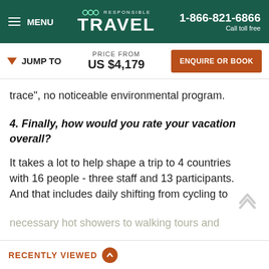MENU | RESPONSIBLE TRAVEL | 1-866-821-6866 Call toll free
JUMP TO   PRICE FROM US $4,179   ENQUIRE OR BOOK
trace", no noticeable environmental program.
4. Finally, how would you rate your vacation overall?
It takes a lot to help shape a trip to 4 countries with 16 people - three staff and 13 participants. And that includes daily shifting from cycling to necessary hot showers to walking tours and
SHOW MORE
RECENTLY VIEWED